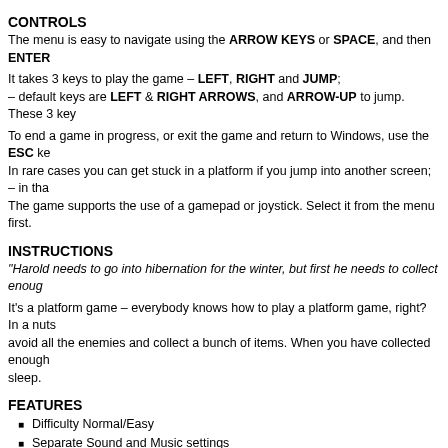CONTROLS
The menu is easy to navigate using the ARROW KEYS or SPACE, and then ENTER
It takes 3 keys to play the game – LEFT, RIGHT and JUMP;
– default keys are LEFT & RIGHT ARROWS, and ARROW-UP to jump. These 3 key
To end a game in progress, or exit the game and return to Windows, use the ESC ke
In rare cases you can get stuck in a platform if you jump into another screen; – in tha
The game supports the use of a gamepad or joystick. Select it from the menu first.
INSTRUCTIONS
"Harold needs to go into hibernation for the winter, but first he needs to collect enoug
It's a platform game – everybody knows how to play a platform game, right? In a nuts
avoid all the enemies and collect a bunch of items. When you have collected enough
sleep.
FEATURES
Difficulty Normal/Easy
Separate Sound and Music settings
Redefinable keys
Joystick/Gamepad option